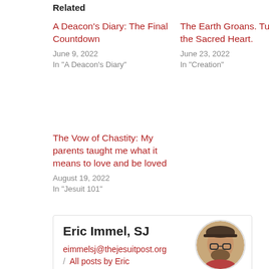Related
A Deacon's Diary: The Final Countdown
June 9, 2022
In "A Deacon's Diary"
The Earth Groans. Turn to the Sacred Heart.
June 23, 2022
In "Creation"
The Vow of Chastity: My parents taught me what it means to love and be loved
August 19, 2022
In "Jesuit 101"
Eric Immel, SJ
eimmelsj@thejesuitpost.org
/ All posts by Eric
[Figure (photo): Circular headshot photo of Eric Immel, SJ, a man wearing glasses and a cap]